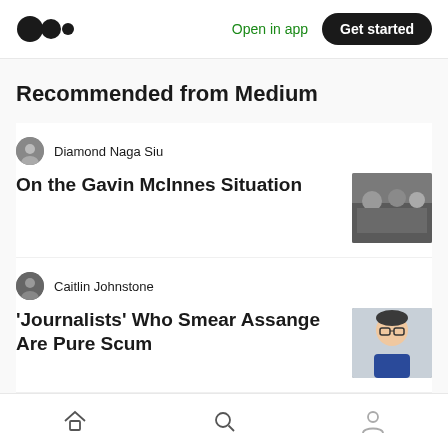Medium logo | Open in app | Get started
Recommended from Medium
Diamond Naga Siu
On the Gavin McInnes Situation
Caitlin Johnstone
‘Journalists’ Who Smear Assange Are Pure Scum
Rohan Gupta
Moral Turpitude of Humanitarian Journalism
Home | Search | Profile